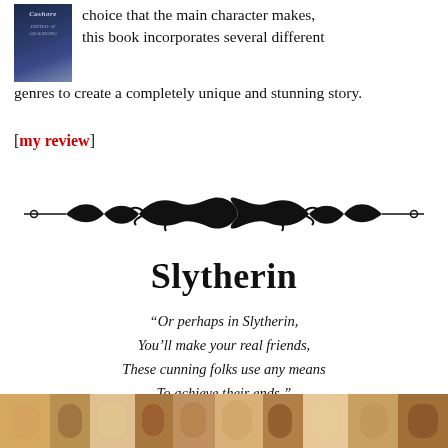choice that the main character makes, this book incorporates several different genres to create a completely unique and stunning story.
[my review]
[Figure (illustration): Decorative ornamental divider with scrollwork and floral motifs in black]
Slytherin
“Or perhaps in Slytherin, You’ll make your real friends, These cunning folks use any means To achieve their ends.”
[Figure (photo): Strip of photos showing faces of people at the bottom of the page]